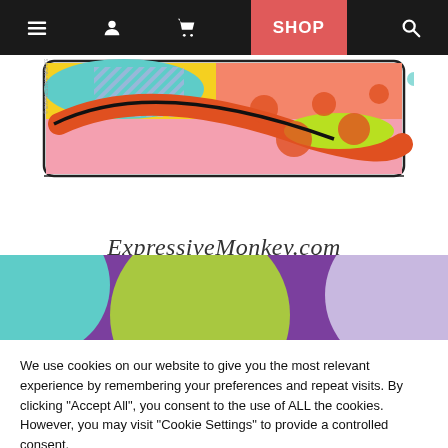Navigation bar with menu, user, cart, SHOP, and search icons
[Figure (screenshot): ExpressiveMonkey.com website header with colorful pop art illustration and script logo text]
[Figure (illustration): Colorful banner with large overlapping circles in teal, purple, green, and lavender]
We use cookies on our website to give you the most relevant experience by remembering your preferences and repeat visits. By clicking "Accept All", you consent to the use of ALL the cookies. However, you may visit "Cookie Settings" to provide a controlled consent.
Cookie Settings | Accept All